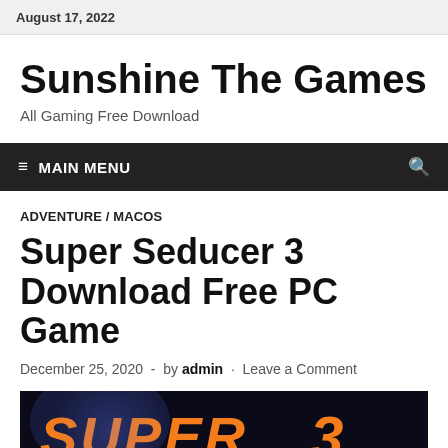August 17, 2022
Sunshine The Games
All Gaming Free Download
≡ MAIN MENU
ADVENTURE / MACOS
Super Seducer 3 Download Free PC Game
December 25, 2020  -  by admin  ·  Leave a Comment
[Figure (photo): Game cover image showing 'SUPER 3' text in orange bold italic font on a dark background with blue glow effects]